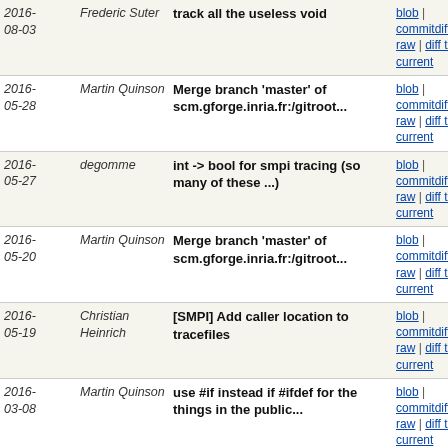| Date | Author | Message | Links |
| --- | --- | --- | --- |
| 2016-08-03 | Frederic Suter | track all the useless void | blob | commitdiff | raw | diff to current |
| 2016-05-28 | Martin Quinson | Merge branch 'master' of scm.gforge.inria.fr:/gitroot... | blob | commitdiff | raw | diff to current |
| 2016-05-27 | degomme | int -> bool for smpi tracing (so many of these ...) | blob | commitdiff | raw | diff to current |
| 2016-05-20 | Martin Quinson | Merge branch 'master' of scm.gforge.inria.fr:/gitroot... | blob | commitdiff | raw | diff to current |
| 2016-05-19 | Christian Heinrich | [SMPI] Add caller location to tracefiles | blob | commitdiff | raw | diff to current |
| 2016-03-08 | Martin Quinson | use #if instead if #ifdef for the things in the public... | blob | commitdiff | raw | diff to current |
| 2016-03-01 | Martin Quinson | Merge branch 'master' of scm.gforge.inria.fr:/gitroot... | blob | commitdiff | raw | diff to current |
| 2016-03-01 | Frederic Suter | blank lines and indent in instr | blob | commitdiff | raw | diff to current |
| 2016-02-24 | Fabien Chaix | Merge branch 'oldstyle_element_set' | blob | commitdiff | raw | diff to current |
| 2016-02-23 | fabienchaix | Merge pull request #2 from mquinson/master | blob | commitdiff | raw | diff to current |
| 2016- | Martin | banish some surf parsing files to a... | blob | |